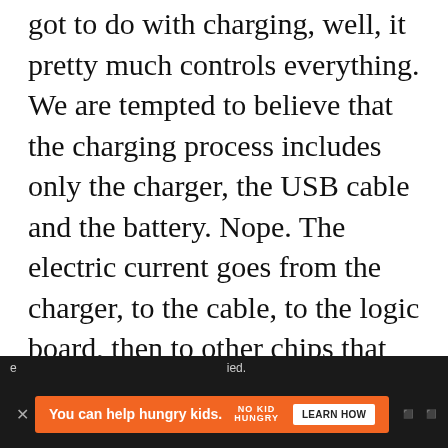If you're wondering what has firmware got to do with charging, well, it pretty much controls everything. We are tempted to believe that the charging process includes only the charger, the USB cable and the battery. Nope. The electric current goes from the charger, to the cable, to the logic board, then to other chips that the firmware has control over, then to the battery. The fact is, it's the firmware that “allows” charging. That
[Figure (infographic): Advertisement banner: orange box with text 'You can help hungry kids.' with No Kid Hungry logo and 'LEARN HOW' button, on dark background with close (X) button and partial page content visible]